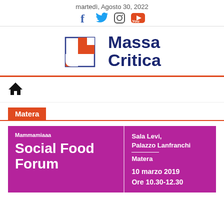martedì, Agosto 30, 2022
[Figure (logo): Massa Critica logo with orange puzzle-piece icon and dark blue text]
[Figure (infographic): Home icon navigation bar]
Matera
[Figure (infographic): Event card for Social Food Forum - Mammamiaaa, Sala Levi Palazzo Lanfranchi Matera, 10 marzo 2019 Ore 10.30-12.30]